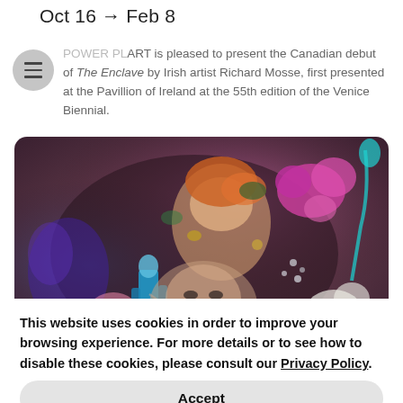Oct 16 → Feb 8
POWER PLANT RT is pleased to present the Canadian debut of The Enclave by Irish artist Richard Mosse, first presented at the Pavillion of Ireland at the 55th edition of the Venice Biennial.
[Figure (photo): Colourful surreal collage artwork featuring faces, flowers, toys, and mixed objects with hyper-saturated colours on a dark background]
This website uses cookies in order to improve your browsing experience. For more details or to see how to disable these cookies, please consult our Privacy Policy.
Accept
Valérie Belin creates monumental monochrome or hyper-saturated colour